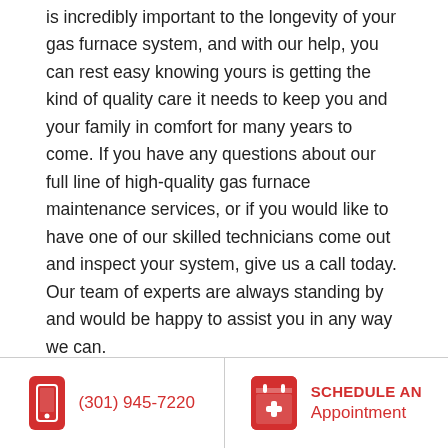is incredibly important to the longevity of your gas furnace system, and with our help, you can rest easy knowing yours is getting the kind of quality care it needs to keep you and your family in comfort for many years to come. If you have any questions about our full line of high-quality gas furnace maintenance services, or if you would like to have one of our skilled technicians come out and inspect your system, give us a call today. Our team of experts are always standing by and would be happy to assist you in any way we can.
(301) 945-7220 | SCHEDULE AN Appointment